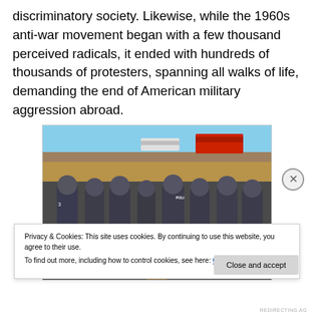discriminatory society. Likewise, while the 1960s anti-war movement began with a few thousand perceived radicals, it ended with hundreds of thousands of protesters, spanning all walks of life, demanding the end of American military aggression abroad.
[Figure (photo): Photo of law enforcement officers in riot gear confronting protesters outdoors in a field with vehicles visible in the background under a blue sky.]
Privacy & Cookies: This site uses cookies. By continuing to use this website, you agree to their use.
To find out more, including how to control cookies, see here: Cookie Policy
Close and accept